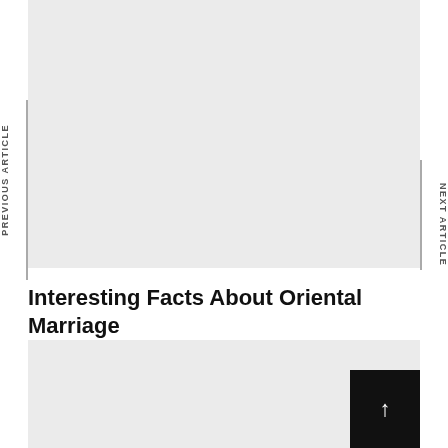[Figure (photo): Gray placeholder image area at top of page]
PREVIOUS ARTICLE
NEXT ARTICLE
Interesting Facts About Oriental Marriage
[Figure (photo): Gray placeholder image area at bottom of page]
[Figure (other): Black scroll-to-top button with upward arrow]